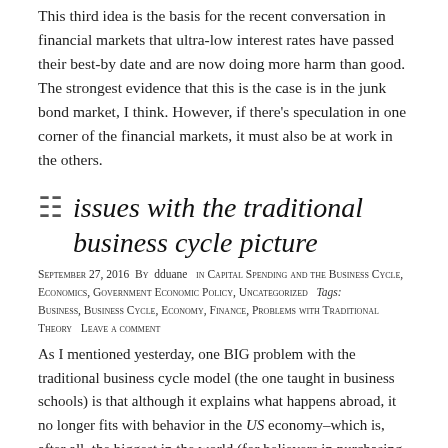This third idea is the basis for the recent conversation in financial markets that ultra-low interest rates have passed their best-by date and are now doing more harm than good. The strongest evidence that this is the case is in the junk bond market, I think. However, if there's speculation in one corner of the financial markets, it must also be at work in the others.
issues with the traditional business cycle picture
September 27, 2016  By  dduane   in CAPITAL SPENDING AND THE BUSINESS CYCLE, ECONOMICS, GOVERNMENT ECONOMIC POLICY, Uncategorized   Tags: BUSINESS, BUSINESS CYCLE, ECONOMY, FINANCE, PROBLEMS WITH TRADITIONAL THEORY   Leave a comment
As I mentioned yesterday, one BIG problem with the traditional business cycle model (the one taught in business schools) is that although it explains what happens abroad, it no longer fits with behavior in the US economy–which is, after all, the biggest in the world (for believers in purchasing power parity, the second-biggest  …after China).
The model says that lower interest rates energize business capital